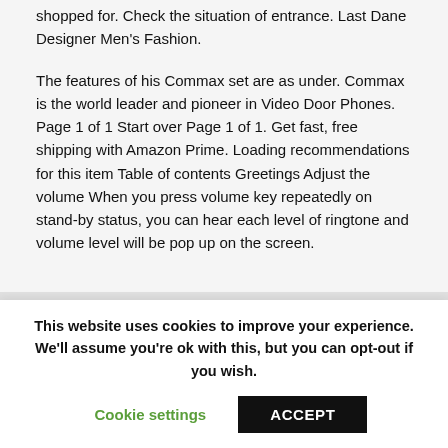shopped for. Check the situation of entrance. Last Dane Designer Men's Fashion.

The features of his Commax set are as under. Commax is the world leader and pioneer in Video Door Phones. Page 1 of 1 Start over Page 1 of 1. Get fast, free shipping with Amazon Prime. Loading recommendations for this item Table of contents Greetings Adjust the volume When you press volume key repeatedly on stand-by status, you can hear each level of ringtone and volume level will be pop up on the screen.
This website uses cookies to improve your experience. We'll assume you're ok with this, but you can opt-out if you wish.
Cookie settings
ACCEPT